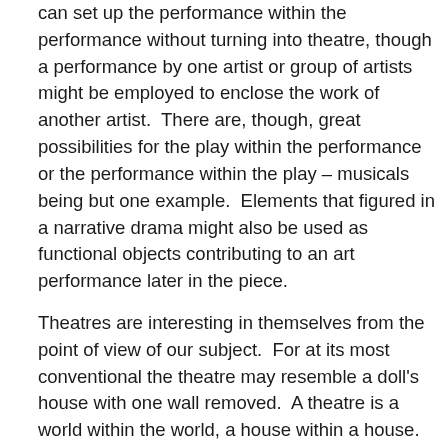can set up the performance within the performance without turning into theatre, though a performance by one artist or group of artists might be employed to enclose the work of another artist.  There are, though, great possibilities for the play within the performance or the performance within the play – musicals being but one example.  Elements that figured in a narrative drama might also be used as functional objects contributing to an art performance later in the piece.
Theatres are interesting in themselves from the point of view of our subject.  For at its most conventional the theatre may resemble a doll's house with one wall removed.  A theatre is a world within the world, a house within a house.  Palladio's theatre at Vincenza takes this notion to its logical conclusion and creates an architectural set, a street scene, a set though that is made of stone – as